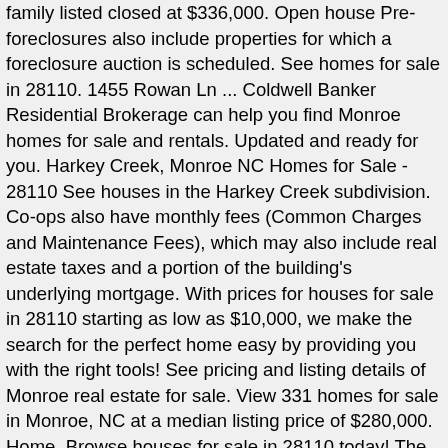family listed closed at $336,000. Open house Pre-foreclosures also include properties for which a foreclosure auction is scheduled. See homes for sale in 28110. 1455 Rowan Ln ... Coldwell Banker Residential Brokerage can help you find Monroe homes for sale and rentals. Updated and ready for you. Harkey Creek, Monroe NC Homes for Sale - 28110 See houses in the Harkey Creek subdivision. Co-ops also have monthly fees (Common Charges and Maintenance Fees), which may also include real estate taxes and a portion of the building's underlying mortgage. With prices for houses for sale in 28110 starting as low as $10,000, we make the search for the perfect home easy by providing you with the right tools! See pricing and listing details of Monroe real estate for sale. View 331 homes for sale in Monroe, NC at a median listing price of $280,000. Home. Browse houses for sale in 28110 today! The lender initiated foreclosure proceedings on these properties because the owner(s) were in default on their loan obligations. 28110 is located in North Carolina. This is higher than the county median home value of $251,000. Find 26 photos of the 4009 Love Mill Road home on Xome